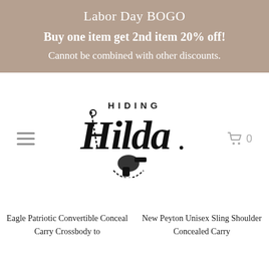Labor Day BOGO
Buy one item get 2nd item 20% off!
Cannot be combined with other discounts.
[Figure (logo): Hiding Hilda brand logo with script lettering and a concealed carry holster graphic]
Eagle Patriotic Convertible Conceal Carry Crossbody to
New Peyton Unisex Sling Shoulder Concealed Carry